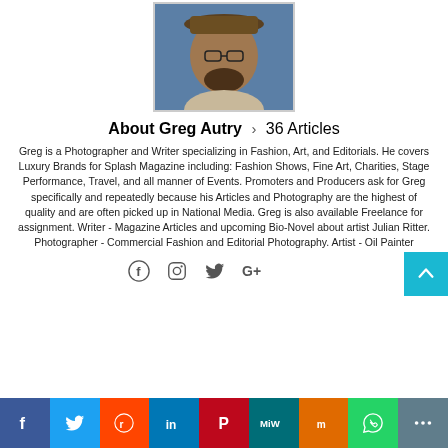[Figure (photo): Portrait photo of Greg Autry, a man wearing glasses and a hat]
About Greg Autry › 36 Articles
Greg is a Photographer and Writer specializing in Fashion, Art, and Editorials. He covers Luxury Brands for Splash Magazine including: Fashion Shows, Fine Art, Charities, Stage Performance, Travel, and all manner of Events. Promoters and Producers ask for Greg specifically and repeatedly because his Articles and Photography are the highest of quality and are often picked up in National Media. Greg is also available Freelance for assignment. Writer - Magazine Articles and upcoming Bio-Novel about artist Julian Ritter. Photographer - Commercial Fashion and Editorial Photography. Artist - Oil Painter
[Figure (infographic): Social media icons row: Facebook, Instagram, Twitter, Google+, and scroll-to-top button]
[Figure (infographic): Share bar with colored buttons: Facebook (blue), Twitter (light blue), Reddit (orange), LinkedIn (blue), Pinterest (red), MeWe (teal), Mix (orange), WhatsApp (green), Share (gray)]